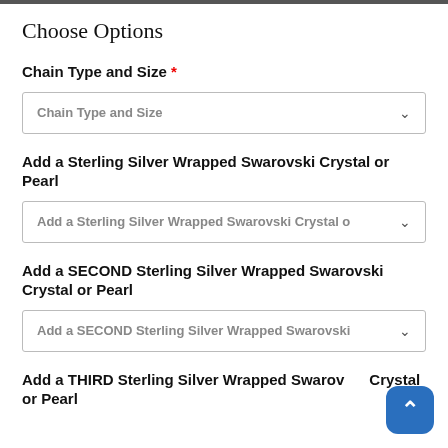Choose Options
Chain Type and Size *
Chain Type and Size
Add a Sterling Silver Wrapped Swarovski Crystal or Pearl
Add a Sterling Silver Wrapped Swarovski Crystal o
Add a SECOND Sterling Silver Wrapped Swarovski Crystal or Pearl
Add a SECOND Sterling Silver Wrapped Swarovski
Add a THIRD Sterling Silver Wrapped Swarovski Crystal or Pearl